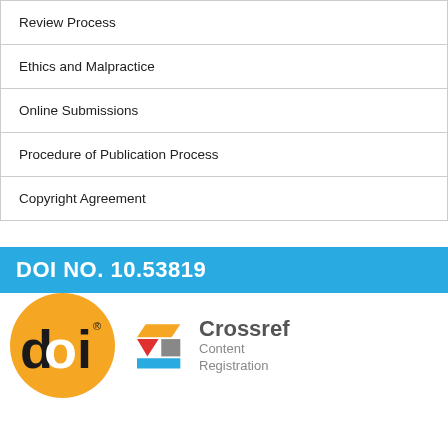| Review Process |
| Ethics and Malpractice |
| Online Submissions |
| Procedure of Publication Process |
| Copyright Agreement |
DOI NO. 10.53819
[Figure (logo): DOI logo (orange circle with 'doi' text) and Crossref Content Registration logo]